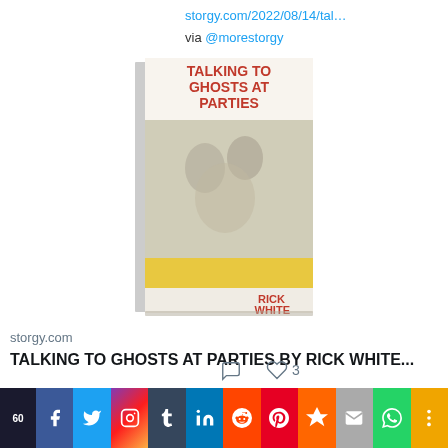storgy.com/2022/08/14/tal…
via @morestorgy
[Figure (photo): Book cover of 'Talking to Ghosts at Parties' by Rick White]
storgy.com
TALKING TO GHOSTS AT PARTIES BY RICK WHITE...
3 likes
View more on Twitter
Learn more about privacy on Twitter
[Figure (infographic): Social media sharing bar with icons for Facebook (60), Twitter, Instagram, Tumblr, LinkedIn, Reddit, Pinterest, Mix, Email, WhatsApp, More]